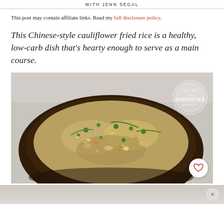WITH JENN SEGAL
This post may contain affiliate links. Read my full disclosure policy.
This Chinese-style cauliflower fried rice is a healthy, low-carb dish that's hearty enough to serve as a main course.
[Figure (photo): A wooden bowl filled with cauliflower fried rice topped with green onions, peas, carrots, and cashews. A 'Tested and Perfected Recipes' circular stamp is visible in the upper right. A heart/save button appears in the lower right corner.]
[Figure (photo): Bottom portion of a second photo partially visible, showing a light surface/background.]